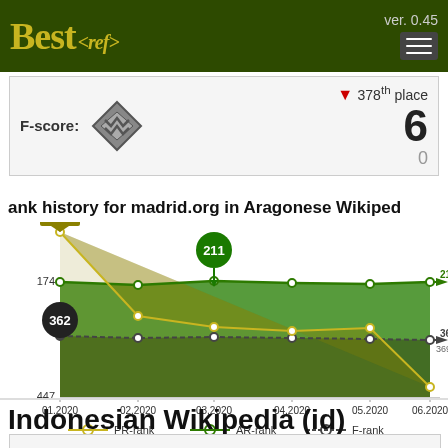Best<ref> ver. 0.45
F-score: ▼ 378th place  6  0
[Figure (line-chart): Rank history for madrid.org in Aragonese Wikipedia]
Indonesian Wikipedia (id)